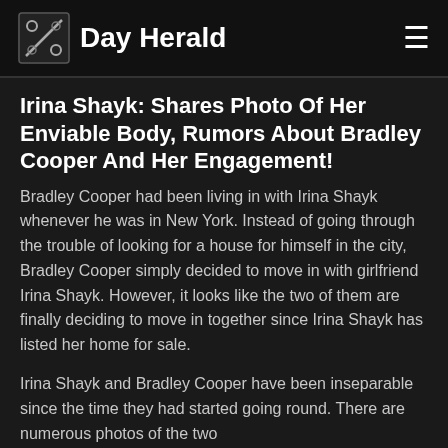Day Herald
Irina Shayk: Shares Photo Of Her Enviable Body, Rumors About Bradley Cooper And Her Engagement!
Bradley Cooper had been living in with Irina Shayk whenever he was in New York. Instead of going through the trouble of looking for a house for himself in the city, Bradley Cooper simply decided to move in with girlfriend Irina Shayk. However, it looks like the two of them are finally deciding to move in together since Irina Shayk has listed her home for sale.
Irina Shayk and Bradley Cooper have been inseparable since the time they had started going round. There are numerous photos of the two